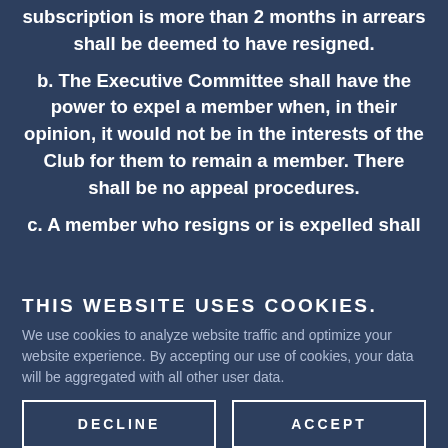subscription is more than 2 months in arrears shall be deemed to have resigned.
b. The Executive Committee shall have the power to expel a member when, in their opinion, it would not be in the interests of the Club for them to remain a member. There shall be no appeal procedures.
c. A member who resigns or is expelled shall
THIS WEBSITE USES COOKIES.
We use cookies to analyze website traffic and optimize your website experience. By accepting our use of cookies, your data will be aggregated with all other user data.
DECLINE
ACCEPT